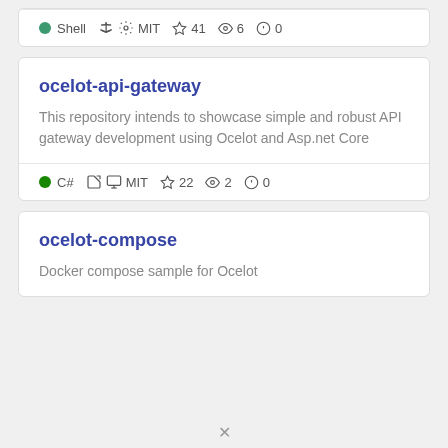Shell  MIT  ★ 41  👁 6  ⓘ 0
ocelot-api-gateway
This repository intends to showcase simple and robust API gateway development using Ocelot and Asp.net Core
C#  MIT  ★ 22  👁 2  ⓘ 0
ocelot-compose
Docker compose sample for Ocelot